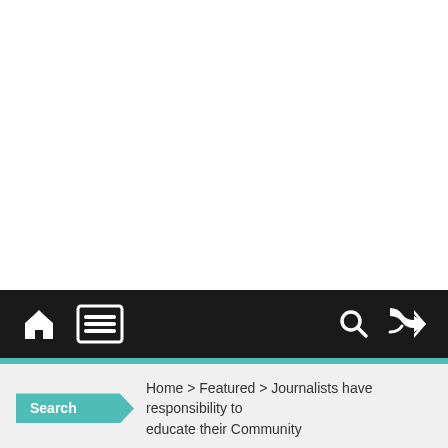[Figure (screenshot): White empty area representing advertisement or blank space at top of webpage]
Navigation bar with home icon, menu icon, search icon, and shuffle icon
Search  Home > Featured > Journalists have responsibility to educate their Community
Journalists have responsibility to educate their